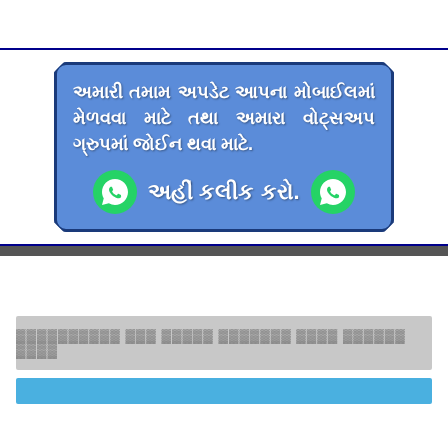[Figure (infographic): Blue rounded rectangle with Gujarati text about receiving updates on mobile and joining WhatsApp group, with two WhatsApp icons and 'click here' call to action text]
Gray bar with Gujarati placeholder text